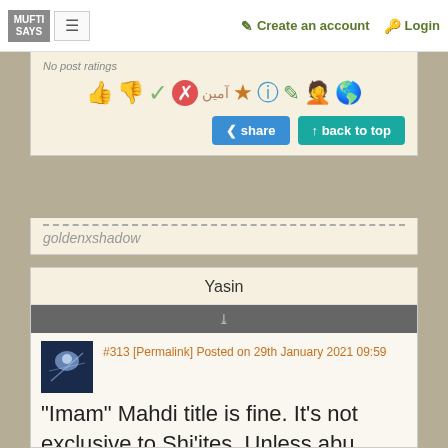MUFTI SAYS | Create an account | Login
No post ratings
[Figure (other): Row of reaction emoji icons: thumbs up, thumbs down, checkmark, X, Arabic text (آمین), star, info, pen, facepalm, globe]
share   back to top
goldenxshadow
Yasin
#313 [Permalink] Posted on 29th January 2021 09:59
"Imam" Mahdi title is fine. It's not exclusive to Shi'ites. Unless abu mohammed was referring to the use somewhere else.